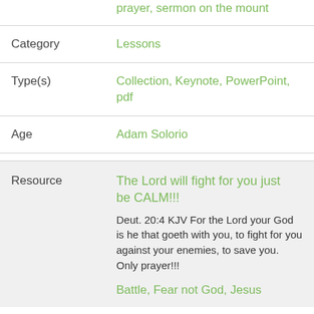prayer, sermon on the mount
Category
Lessons
Type(s)
Collection, Keynote, PowerPoint, pdf
Age
Adam Solorio
Resource
The Lord will fight for you just be CALM!!!
Deut. 20:4 KJV For the Lord your God is he that goeth with you, to fight for you against your enemies, to save you. Only prayer!!!
Battle, Fear not God, Jesus